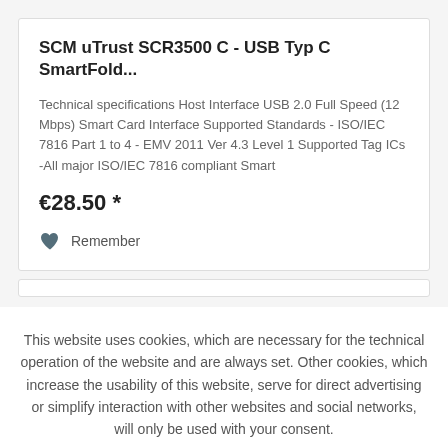SCM uTrust SCR3500 C - USB Typ C SmartFold...
Technical specifications Host Interface USB 2.0 Full Speed (12 Mbps) Smart Card Interface Supported Standards - ISO/IEC 7816 Part 1 to 4 - EMV 2011 Ver 4.3 Level 1 Supported Tag ICs -All major ISO/IEC 7816 compliant Smart
€28.50 *
Remember
This website uses cookies, which are necessary for the technical operation of the website and are always set. Other cookies, which increase the usability of this website, serve for direct advertising or simplify interaction with other websites and social networks, will only be used with your consent.
Decline
Configure